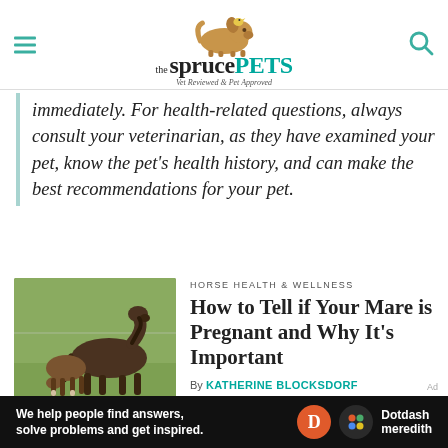the spruce PETS — Vet Reviewed & Pet Approved
immediately. For health-related questions, always consult your veterinarian, as they have examined your pet, know the pet's health history, and can make the best recommendations for your pet.
[Figure (photo): A mare and foal standing on green grass]
HORSE HEALTH & WELLNESS
How to Tell if Your Mare is Pregnant and Why It's Important
By KATHERINE BLOCKSDORF
Ad — We help people find answers, solve problems and get inspired. Dotdash meredith